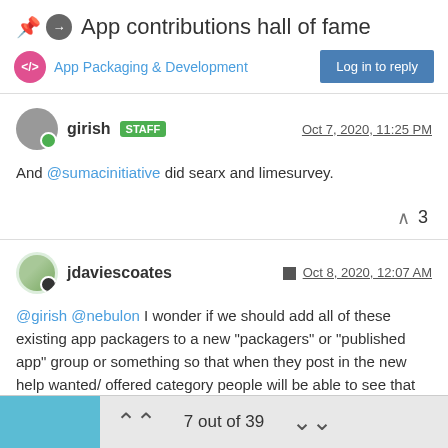App contributions hall of fame
App Packaging & Development
Log in to reply
girish STAFF  Oct 7, 2020, 11:25 PM
And @sumacinitiative did searx and limesurvey.
▲ 3
jdaviescoates  Oct 8, 2020, 12:07 AM
@girish @nebulon I wonder if we should add all of these existing app packagers to a new "packagers" or "published app" group or something so that when they post in the new help wanted/ offered category people will be able to see that they've already packaged
7 out of 39